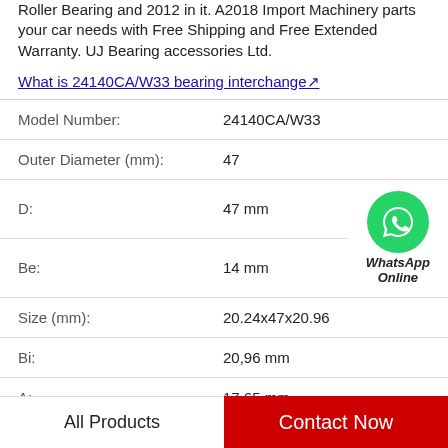Roller Bearing and 2012 in it. A2018 Import Machinery parts your car needs with Free Shipping and Free Extended Warranty. UJ Bearing accessories Ltd.
What is 24140CA/W33 bearing interchange↗
| Model Number: | 24140CA/W33 |
| Outer Diameter (mm): | 47 |
| D: | 47 mm |
| Be: | 14 mm |
| Size (mm): | 20.24x47x20.96 |
| Bi: | 20,96 mm |
| A: | 17,65 mm |
[Figure (logo): WhatsApp Online green phone icon badge with italic bold text 'WhatsApp Online']
All Products
Contact Now